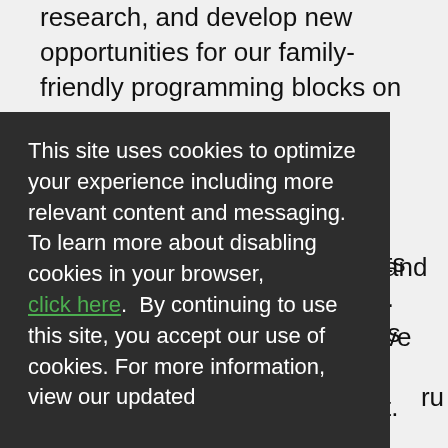research, and develop new opportunities for our family-friendly programming blocks on ABC, CBS, NBC, The CW, Telemundo, and other media and digital/social outlets. Support creation and present strategic, cross-media concepts to multiple stakeholder groups. 10 + years of relevant business
This site uses cookies to optimize your experience including more relevant content and messaging. To learn more about disabling cookies in your browser, click here.  By continuing to use this site, you accept our use of cookies. For more information, view our updated Privacy Policy.
I Consent